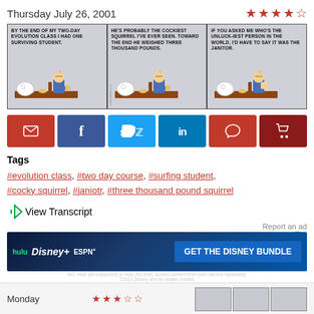Thursday July 26, 2001
[Figure (illustration): Star rating: 4 out of 5 red stars]
[Figure (illustration): Dilbert three-panel comic strip dated Thursday July 26, 2001. Panel 1: 'By the end of my two-day evolution class I had one surviving student.' Panel 2: 'He's probably the cockiest squirrel I've ever seen. Toward the end he weighed three thousand pounds.' Panel 3: 'If you asked me who's the unluckiest person in the world, I'd have to say it was the janitor.']
[Figure (infographic): Social sharing buttons: email, facebook, twitter, linkedin, comment, cart]
Tags
#evolution class, #two day course, #surfing student, #cocky squirrel, #janiotr, #three thousand pound squirrel
View Transcript
[Figure (screenshot): Hulu Disney+ ESPN+ GET THE DISNEY BUNDLE advertisement banner]
Monday
[Figure (illustration): Star rating row for Monday strip]
[Figure (illustration): Monday comic strip panels (partially visible)]